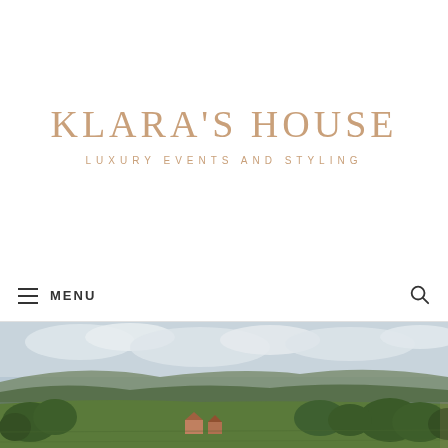KLARA'S HOUSE — LUXURY EVENTS AND STYLING
MENU
[Figure (photo): Aerial view of a lush green countryside landscape with rolling hills, trees, and farm buildings under a cloudy sky]